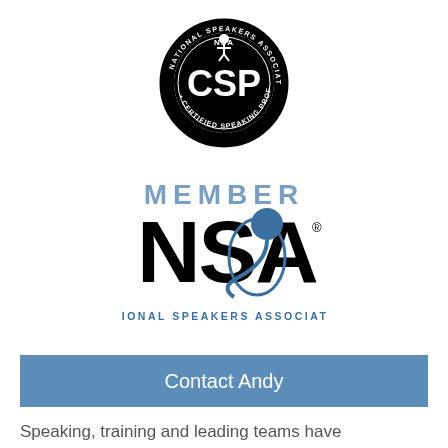[Figure (logo): NSA CSP - National Speakers Association Certified Speaking Professional circular seal logo in black and white]
[Figure (logo): Member NSA - National Speakers Association logo with blue microphone graphic and blue MEMBER text above bold NSA letters]
Contact Andy
Speaking, training and leading teams have